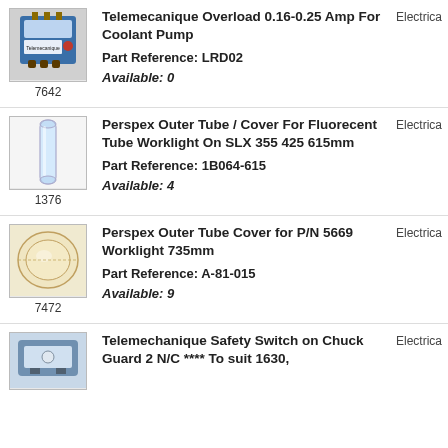[Figure (photo): Telemecanique overload relay device, part 7642]
7642
Telemecanique Overload 0.16-0.25 Amp For Coolant Pump
Part Reference: LRD02
Available: 0
Electrica
[Figure (photo): Perspex outer tube / cover, long transparent tube, part 1376]
1376
Perspex Outer Tube / Cover For Fluorecent Tube Worklight On SLX 355 425 615mm
Part Reference: 1B064-615
Available: 4
Electrica
[Figure (photo): Perspex outer tube cover, clear cylindrical tube, part 7472]
7472
Perspex Outer Tube Cover for P/N 5669 Worklight 735mm
Part Reference: A-81-015
Available: 9
Electrica
[Figure (photo): Telemechanique safety switch device, partial view]
Telemechanique Safety Switch on Chuck Guard 2 N/C **** To suit 1630,